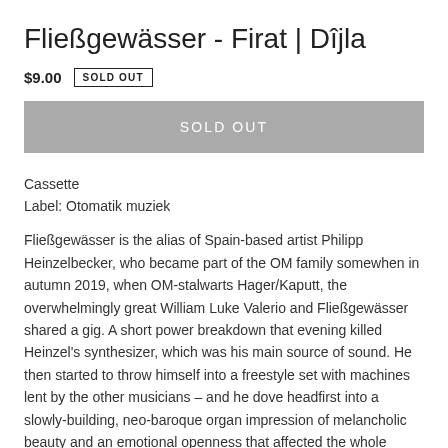Fließgewässer - Firat | Dîjla
$9.00  SOLD OUT
SOLD OUT
Cassette
Label: Otomatik muziek
Fließgewässer is the alias of Spain-based artist Philipp Heinzelbecker, who became part of the OM family somewhen in autumn 2019, when OM-stalwarts Hager/Kaputt, the overwhelmingly great William Luke Valerio and Fließgewässer shared a gig. A short power breakdown that evening killed Heinzel's synthesizer, which was his main source of sound. He then started to throw himself into a freestyle set with machines lent by the other musicians – and he dove headfirst into a slowly-building, neo-baroque organ impression of melancholic beauty and an emotional openness that affected the whole room.